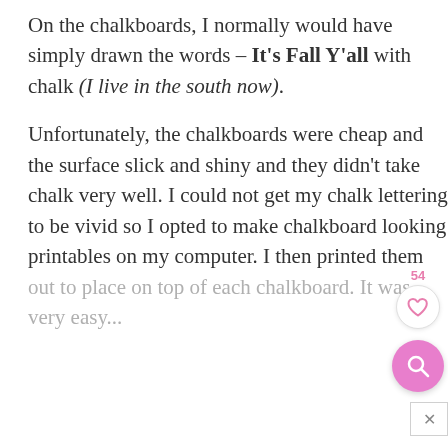On the chalkboards, I normally would have simply drawn the words – It's Fall Y'all with chalk (I live in the south now).
Unfortunately, the chalkboards were cheap and the surface slick and shiny and they didn't take chalk very well. I could not get my chalk lettering to be vivid so I opted to make chalkboard looking printables on my computer. I then printed them out to place on top of each chalkboard. It was very easy...